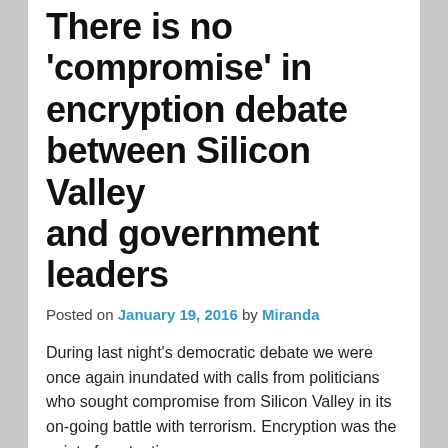There is no 'compromise' in encryption debate between Silicon Valley and government leaders
Posted on January 19, 2016 by Miranda
During last night's democratic debate we were once again inundated with calls from politicians who sought compromise from Silicon Valley in its on-going battle with terrorism. Encryption was the point of contention.
The candidates echoed previous statements regarding the dangerous world we live in. The reason for danger, or so it goes, is the inability of law enforcement to pursue threats from terrorists, both domestic and international, who are